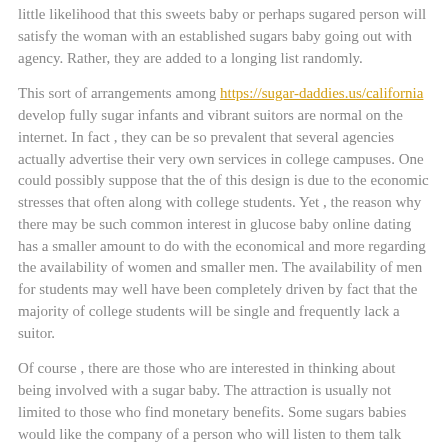little likelihood that this sweets baby or perhaps sugared person will satisfy the woman with an established sugars baby going out with agency. Rather, they are added to a longing list randomly.
This sort of arrangements among https://sugar-daddies.us/california develop fully sugar infants and vibrant suitors are normal on the internet. In fact , they can be so prevalent that several agencies actually advertise their very own services in college campuses. One could possibly suppose that the of this design is due to the economic stresses that often along with college students. Yet , the reason why there may be such common interest in glucose baby online dating has a smaller amount to do with the economical and more regarding the availability of women and smaller men. The availability of men for students may well have been completely driven by fact that the majority of college students will be single and frequently lack a suitor.
Of course , there are those who are interested in thinking about being involved with a sugar baby. The attraction is usually not limited to those who find monetary benefits. Some sugars babies would like the company of a person who will listen to them talk about their problems and whom might help them find the courage to carry out their dreams. A man who genuinely likes you the woman he could be involved with can often be the type of person who will treat her well. The sugar baby on the other hand is likely to be a magic digger that will make assurances she cannot retain